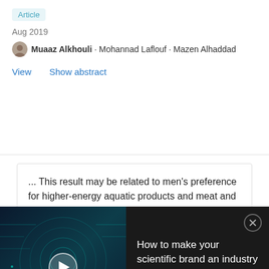Article
Aug 2019
Muaaz Alkhouli · Mohannad Laflouf · Mazen Alhaddad
View    Show abstract
... This result may be related to men's preference for higher-energy aquatic products and meat and poultry, which are more convenient to provide more energy and meet their physical demands. Studies have shown that
[Figure (screenshot): Video thumbnail overlay showing 'How to make your scientific brand an industry name with always-on marketing' with a dark background and circuit board imagery, a play button, and a close (X) button. Below is a product ad for 'Unique mass spec imaging system'.]